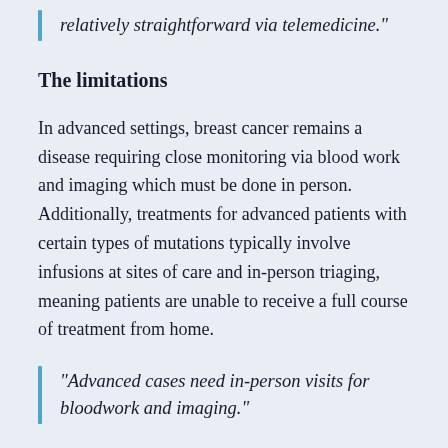relatively straightforward via telemedicine."
The limitations
In advanced settings, breast cancer remains a disease requiring close monitoring via blood work and imaging which must be done in person. Additionally, treatments for advanced patients with certain types of mutations typically involve infusions at sites of care and in-person triaging, meaning patients are unable to receive a full course of treatment from home.
"Advanced cases need in-person visits for bloodwork and imaging."